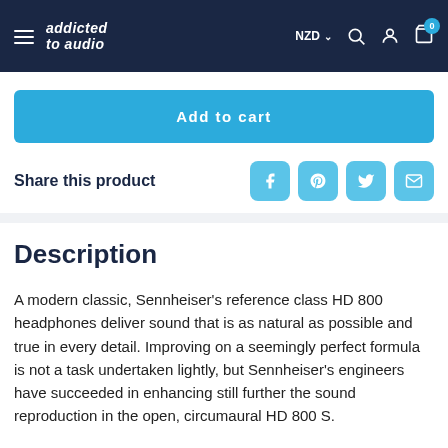addicted to audio — NZD
Add to cart
Share this product
Description
A modern classic, Sennheiser's reference class HD 800 headphones deliver sound that is as natural as possible and true in every detail. Improving on a seemingly perfect formula is not a task undertaken lightly, but Sennheiser's engineers have succeeded in enhancing still further the sound reproduction in the open, circumaural HD 800 S.